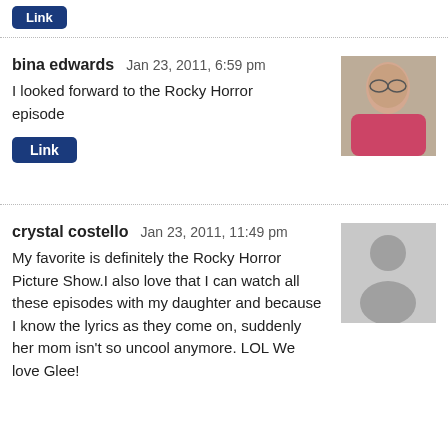Link
bina edwards   Jan 23, 2011, 6:59 pm
I looked forward to the Rocky Horror episode
[Figure (photo): Profile photo of bina edwards, a woman in a pink floral top waving]
Link
crystal costello   Jan 23, 2011, 11:49 pm
My favorite is definitely the Rocky Horror Picture Show.I also love that I can watch all these episodes with my daughter and because I know the lyrics as they come on, suddenly her mom isn't so uncool anymore. LOL We love Glee!
[Figure (illustration): Generic grey placeholder avatar silhouette]